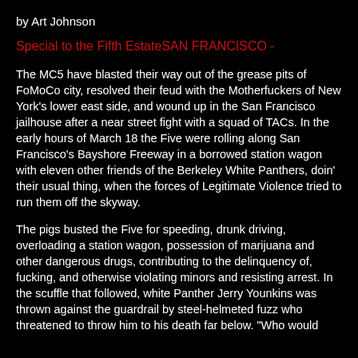by Art Johnson
Special to the Fifth EstateSAN FRANCISCO -
The MC5 have blasted their way out of the grease pits of FoMoCo city, resolved their feud with the Motherfuckers of New York's lower east side, and wound up in the San Francisco jailhouse after a near street fight with a squad of TACs. In the early hours of March 18 the Five were rolling along San Francisco's Bayshore Freeway in a borrowed station wagon with eleven other friends of the Berkeley White Panthers, doin' their usual thing, when the forces of Legitimate Violence tried to run them off the skyway.
The pigs busted the Five for speeding, drunk driving, overloading a station wagon, possession of marijuana and other dangerous drugs, contributing to the delinquency of, fucking, and otherwise violating minors and resisting arrest. In the scuffle that followed, white Panther Jerry Younkins was thrown against the guardrail by steel-helmeted fuzz who threatened to throw him to his death far below. "Who would